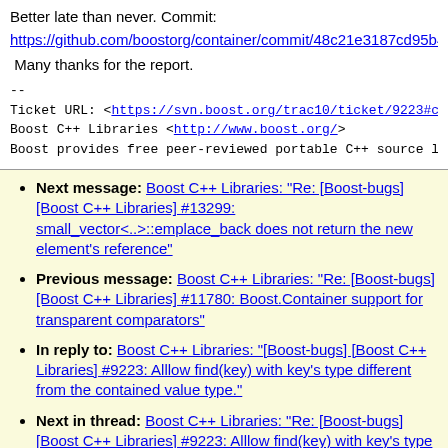Better late than never. Commit:
https://github.com/boostorg/container/commit/48c21e3187cd95b428
Many thanks for the report.
--
Ticket URL: <https://svn.boost.org/trac10/ticket/9223#co
Boost C++ Libraries <http://www.boost.org/>
Boost provides free peer-reviewed portable C++ source lib
Next message: Boost C++ Libraries: "Re: [Boost-bugs] [Boost C++ Libraries] #13299: small_vector<..>::emplace_back does not return the new element's reference"
Previous message: Boost C++ Libraries: "Re: [Boost-bugs] [Boost C++ Libraries] #11780: Boost.Container support for transparent comparators"
In reply to: Boost C++ Libraries: "[Boost-bugs] [Boost C++ Libraries] #9223: Alllow find(key) with key's type different from the contained value type."
Next in thread: Boost C++ Libraries: "Re: [Boost-bugs] [Boost C++ Libraries] #9223: Alllow find(key) with key's type different from the contained value type."